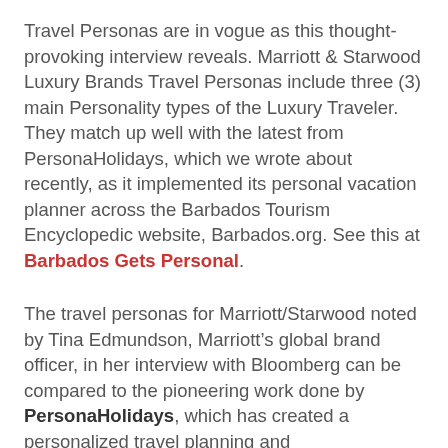Travel Personas are in vogue as this thought-provoking interview reveals. Marriott & Starwood Luxury Brands Travel Personas include three (3) main Personality types of the Luxury Traveler. They match up well with the latest from PersonaHolidays, which we wrote about recently, as it implemented its personal vacation planner across the Barbados Tourism Encyclopedic website, Barbados.org. See this at Barbados Gets Personal.
The travel personas for Marriott/Starwood noted by Tina Edmundson, Marriott's global brand officer, in her interview with Bloomberg can be compared to the pioneering work done by PersonaHolidays, which has created a personalized travel planning and recommendation engine that can be used by hotel marketers. According to